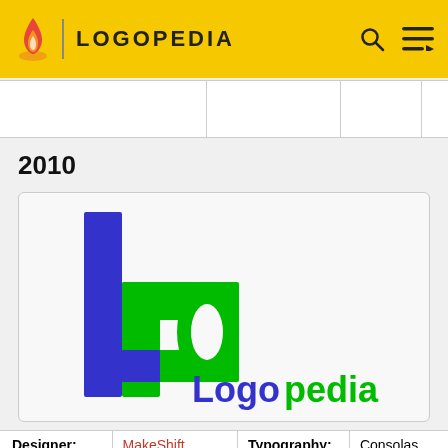LOGOPEDIA
2010
[Figure (logo): Logopedia 2010 logo: blue letter 'l' and green letter 'P' forming 'lP', with text 'Logopedia' in blue and green]
| Designer: | MakeShift | Typography: | Consolas Bold |
| --- | --- | --- | --- |
| Designer: | MakeShift | Typography: | Consolas Bold |